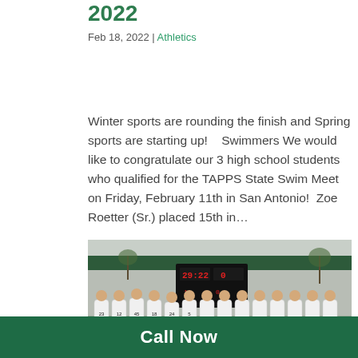2022
Feb 18, 2022 | Athletics
Winter sports are rounding the finish and Spring sports are starting up!    Swimmers We would like to congratulate our 3 high school students who qualified for the TAPPS State Swim Meet on Friday, February 11th in San Antonio!  Zoe Roetter (Sr.) placed 15th in...
[Figure (photo): Group photo of a high school boys team in white jerseys standing in front of a scoreboard displaying 29:22, outdoors near a building with a green roof.]
Call Now